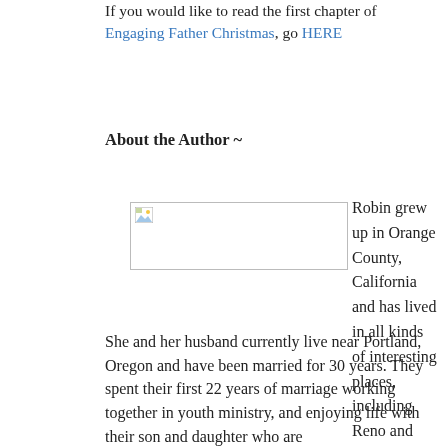If you would like to read the first chapter of Engaging Father Christmas, go HERE
About the Author ~
[Figure (photo): Broken/placeholder image thumbnail for author photo]
Robin grew up in Orange County, California and has lived in all kinds of interesting places, including Reno and Hawai'i.
She and her husband currently live near Portland, Oregon and have been married for 30 years. They spent their first 22 years of marriage working together in youth ministry, and enjoying life with their son and daughter who are